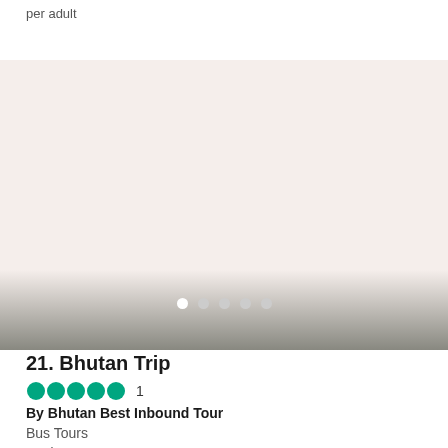per adult
[Figure (photo): Large image placeholder area with pinkish-beige background, representing a travel photo carousel for Bhutan Trip listing, with navigation dots at bottom]
21. Bhutan Trip
★★★★★  1
By Bhutan Best Inbound Tour
Bus Tours
3+ days